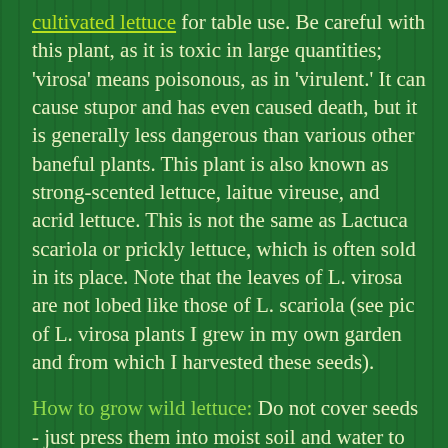cultivated lettuce for table use. Be careful with this plant, as it is toxic in large quantities; 'virosa' means poisonous, as in 'virulent.' It can cause stupor and has even caused death, but it is generally less dangerous than various other baneful plants. This plant is also known as strong-scented lettuce, laitue vireuse, and acrid lettuce. This is not the same as Lactuca scariola or prickly lettuce, which is often sold in its place. Note that the leaves of L. virosa are not lobed like those of L. scariola (see pic of L. virosa plants I grew in my own garden and from which I harvested these seeds).
How to grow wild lettuce: Do not cover seeds - just press them into moist soil and water to germinate in 7-14 days at 70F. I actually threw out a pack of old seeds of this plant onto a mulched area and two